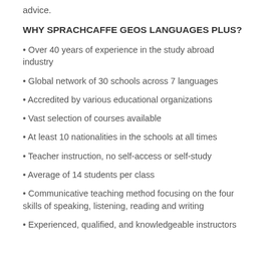advice.
WHY SPRACHCAFFE GEOS LANGUAGES PLUS?
Over 40 years of experience in the study abroad industry
Global network of 30 schools across 7 languages
Accredited by various educational organizations
Vast selection of courses available
At least 10 nationalities in the schools at all times
Teacher instruction, no self-access or self-study
Average of 14 students per class
Communicative teaching method focusing on the four skills of speaking, listening, reading and writing
Experienced, qualified, and knowledgeable instructors